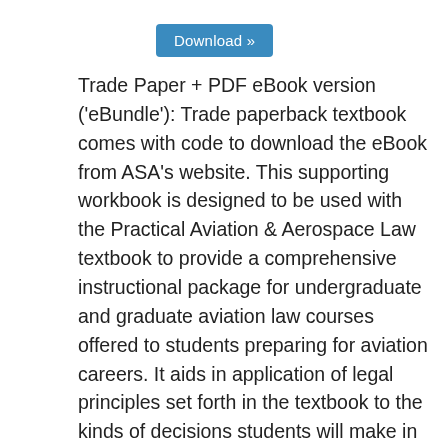[Figure (other): Download button with blue background and white text reading 'Download »']
Trade Paper + PDF eBook version ('eBundle'): Trade paperback textbook comes with code to download the eBook from ASA's website. This supporting workbook is designed to be used with the Practical Aviation & Aerospace Law textbook to provide a comprehensive instructional package for undergraduate and graduate aviation law courses offered to students preparing for aviation careers. It aids in application of legal principles set forth in the textbook to the kinds of decisions students will make in the real world of aviation as managers, pilots, mechanics, aircraft owners, air traffic controllers, air safety investigators, and others involved in aviation as a profession or hobby